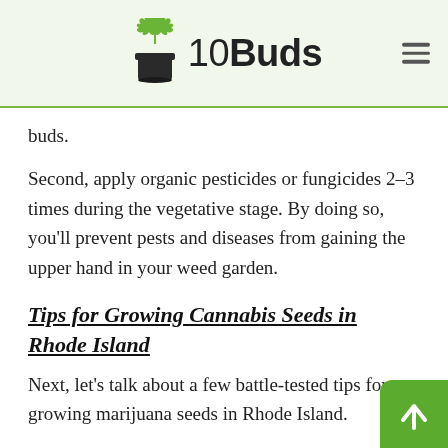10Buds
buds.
Second, apply organic pesticides or fungicides 2–3 times during the vegetative stage. By doing so, you'll prevent pests and diseases from gaining the upper hand in your weed garden.
Tips for Growing Cannabis Seeds in Rhode Island
Next, let's talk about a few battle-tested tips for growing marijuana seeds in Rhode Island.
Buy Cannabis Seeds From a Reputable Online or Local Seed Bank in Rhode Isla...
The best tip for growing top-shelf buds in Rho...